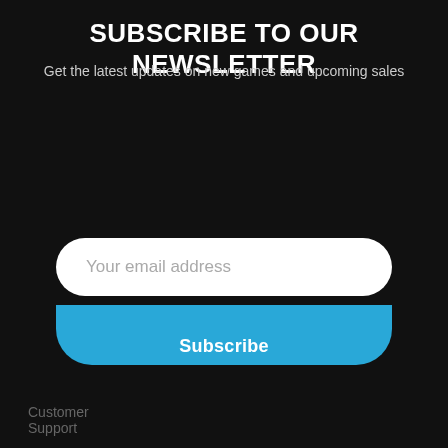SUBSCRIBE TO OUR NEWSLETTER
Get the latest updates on new games and upcoming sales
[Figure (screenshot): Email input field with placeholder text 'Your email address' and a blue Subscribe button below it]
[Figure (screenshot): Modal popup with sparkle icon, heading 'Unlock exclusive rewards and perks', subtext 'Sign up or Log in', a dark blue 'Sign up' button, and a 'Already have an account? Sign in' link]
Already have an account? Sign in
Customer Support